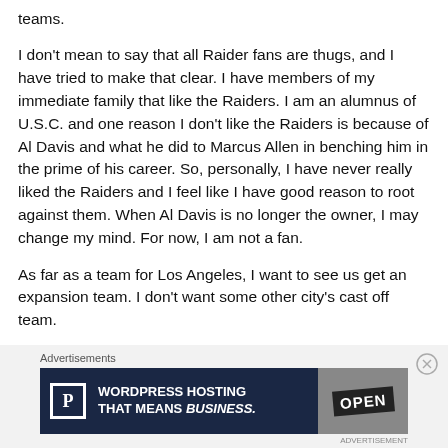teams.
I don't mean to say that all Raider fans are thugs, and I have tried to make that clear. I have members of my immediate family that like the Raiders. I am an alumnus of U.S.C. and one reason I don't like the Raiders is because of Al Davis and what he did to Marcus Allen in benching him in the prime of his career. So, personally, I have never really liked the Raiders and I feel like I have good reason to root against them. When Al Davis is no longer the owner, I may change my mind. For now, I am not a fan.
As far as a team for Los Angeles, I want to see us get an expansion team. I don't want some other city's cast off team.
[Figure (advertisement): WordPress Hosting advertisement banner with dark navy background, white P logo in box, text 'WORDPRESS HOSTING THAT MEANS BUSINESS.' and an image of an OPEN sign on the right.]